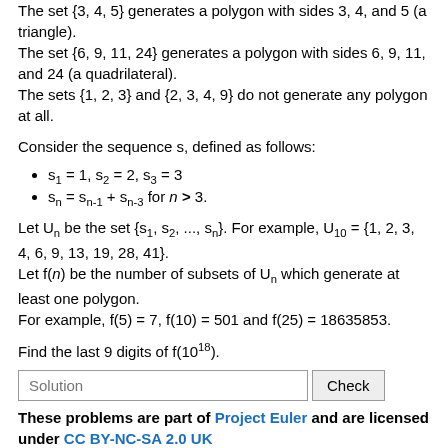The set {3, 4, 5} generates a polygon with sides 3, 4, and 5 (a triangle).
The set {6, 9, 11, 24} generates a polygon with sides 6, 9, 11, and 24 (a quadrilateral).
The sets {1, 2, 3} and {2, 3, 4, 9} do not generate any polygon at all.
Consider the sequence s, defined as follows:
s1 = 1, s2 = 2, s3 = 3
sn = sn-1 + sn-3 for n > 3.
Let Un be the set {s1, s2, ..., sn}. For example, U10 = {1, 2, 3, 4, 6, 9, 13, 19, 28, 41}.
Let f(n) be the number of subsets of Un which generate at least one polygon.
For example, f(5) = 7, f(10) = 501 and f(25) = 18635853.
Find the last 9 digits of f(10^18).
These problems are part of Project Euler and are licensed under CC BY-NC-SA 2.0 UK
http://projecteuler.net/problem=382